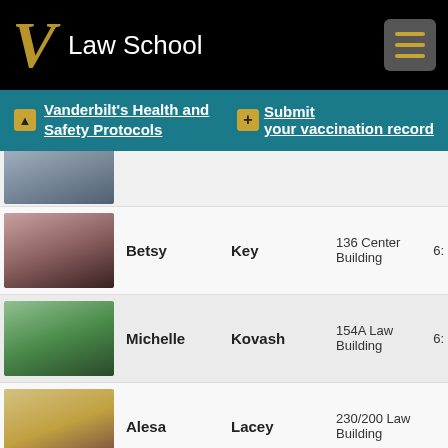[Figure (screenshot): Vanderbilt Law School website header with V logo and Law School text on black background with hamburger menu]
Vanderbilt's Health and Safety Protocols   Submit your vaccination record
| Photo | First | Last | Location | Phone |
| --- | --- | --- | --- | --- |
| [photo] | Betsy | Key | 136 Center Building | 6... |
| [photo] | Michelle | Kovash | 154A Law Building | 6... |
| [photo] | Alesa | Lacey | 230/200 Law Building |  |
| [photo] | Michael | Lavigna | 106 Law Building | 6... |